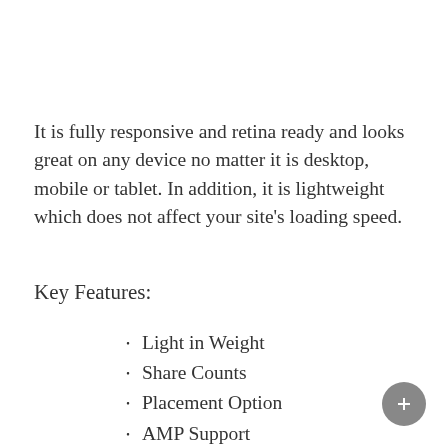It is fully responsive and retina ready and looks great on any device no matter it is desktop, mobile or tablet. In addition, it is lightweight which does not affect your site's loading speed.
Key Features:
Light in Weight
Share Counts
Placement Option
AMP Support
Responsive and Retina ready